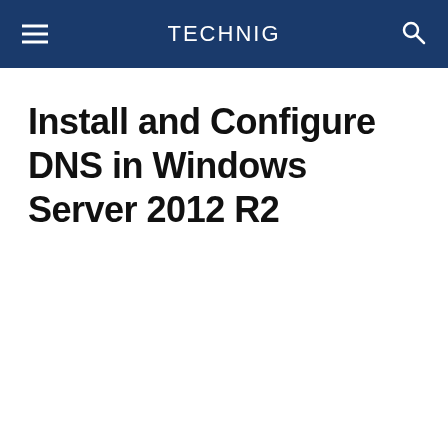TECHNIG
Install and Configure DNS in Windows Server 2012 R2